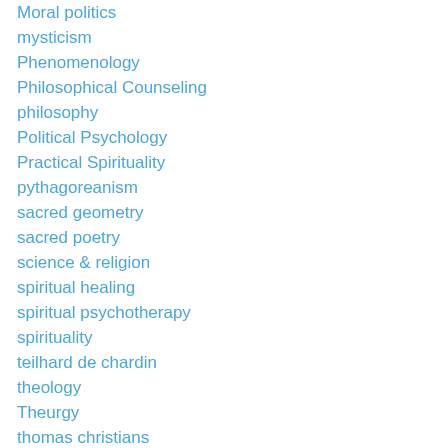Moral politics
mysticism
Phenomenology
Philosophical Counseling
philosophy
Political Psychology
Practical Spirituality
pythagoreanism
sacred geometry
sacred poetry
science & religion
spiritual healing
spiritual psychotherapy
spirituality
teilhard de chardin
theology
Theurgy
thomas christians
Uncategorized
Vampire archetype